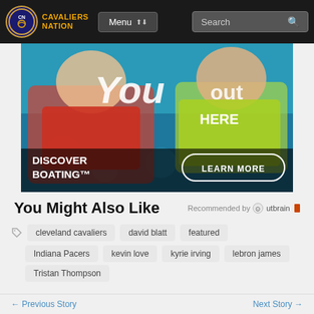Cavaliers Nation — Menu | Search
[Figure (photo): Advertisement image showing two people in water with life vests, text 'you', 'out', 'HERE', 'DISCOVER BOATING' and 'LEARN MORE' button]
You Might Also Like
Recommended by Outbrain
cleveland cavaliers
david blatt
featured
Indiana Pacers
kevin love
kyrie irving
lebron james
Tristan Thompson
Previous Story    Next Story